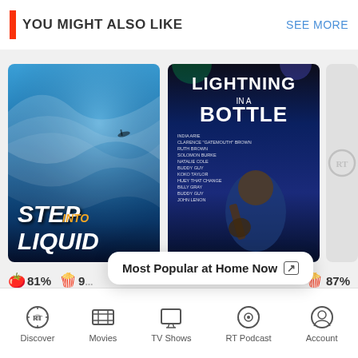YOU MIGHT ALSO LIKE
SEE MORE
[Figure (photo): Movie poster for Step Into Liquid showing ocean wave with surfer]
[Figure (photo): Movie poster for Lightning in a Bottle showing blues musician with guitar]
[Figure (photo): Placeholder gray card with Rotten Tomatoes logo]
81%
9%
87%
Step Into Liquid
Most Popular at Home Now
Grégoire Moulin vs. Humanity
Discover  Movies  TV Shows  RT Podcast  Account